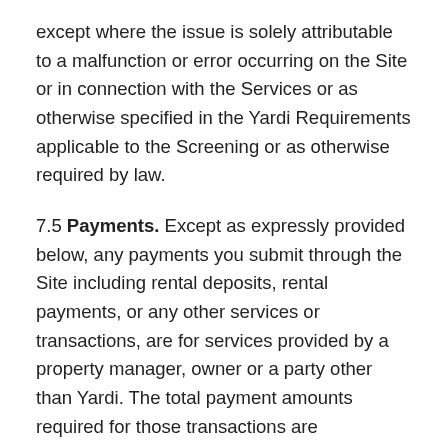except where the issue is solely attributable to a malfunction or error occurring on the Site or in connection with the Services or as otherwise specified in the Yardi Requirements applicable to the Screening or as otherwise required by law.
7.5 Payments. Except as expressly provided below, any payments you submit through the Site including rental deposits, rental payments, or any other services or transactions, are for services provided by a property manager, owner or a party other than Yardi. The total payment amounts required for those transactions are determined solely by you and any other party with whom you are entering into an agreement, and not by Yardi. You acknowledge that you will address any discrepancies, issues or concerns with such payments by contacting the